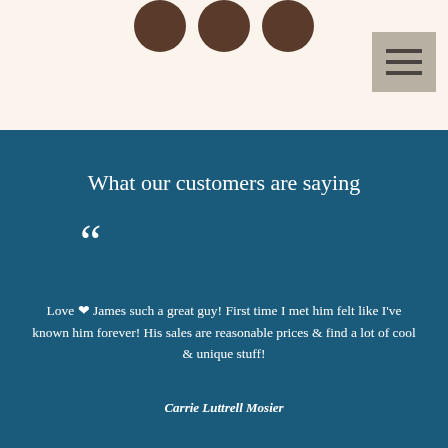[Figure (illustration): Three dark brown circular profile image placeholders in a row on a cream/beige background]
[Figure (illustration): Hamburger menu button icon with three horizontal lines on a grey background, positioned top right]
What our customers are saying
““
Love ♥ James such a great guy! First time I met him felt like I’ve known him forever! His sales are reasonable prices & find a lot of cool & unique stuff!
Carrie Luttrell Mosier